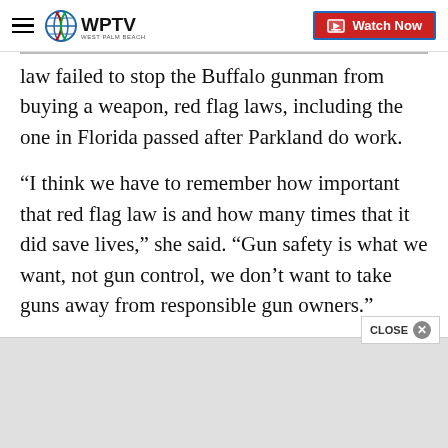WPTV — Watch Now
law failed to stop the Buffalo gunman from buying a weapon, red flag laws, including the one in Florida passed after Parkland do work.
“I think we have to remember how important that red flag law is and how many times that it did save lives,” she said. “Gun safety is what we want, not gun control, we don’t want to take guns away from responsible gun owners.”